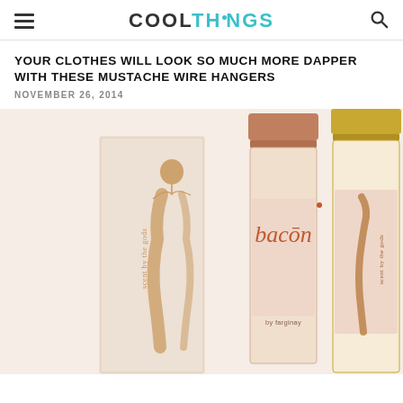COOLTHINGS
YOUR CLOTHES WILL LOOK SO MUCH MORE DAPPER WITH THESE MUSTACHE WIRE HANGERS
NOVEMBER 26, 2014
[Figure (photo): Bacon-scented perfume product photo showing packaging box and two fragrance bottles labeled 'bacon by farginay' with tagline 'scent by the gods', featuring elegant female silhouette artwork]